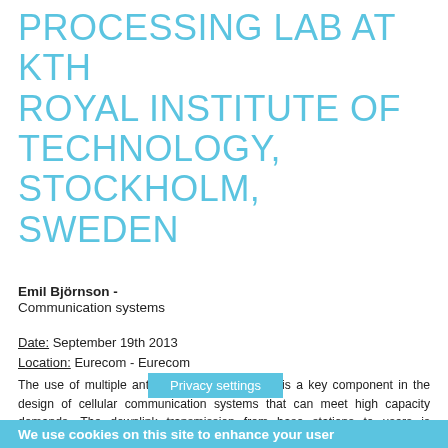PROCESSING LAB AT KTH ROYAL INSTITUTE OF TECHNOLOGY, STOCKHOLM, SWEDEN
Emil Björnson - 
Communication systems
Date: September 19th 2013
Location: Eurecom - Eurecom
The use of multiple antennas at base stations is a key component in the design of cellular communication systems that can meet high capacity demands. The downlink transmission from base stations to users is particularly limiting, both from a theoretical and a practical perspective. The performance of these multi-cell systems depends on how the available time, power, frequency, and spatial resources are divided among the users, which is known as resource allocation. The interdependence between these design parameters and the system performance is complicated, but the throughput, user satisfaction, and revenue can be greatly improved if we understand the nature of resource allocation and how to optimize it for high spectral efficiency. Resource allocation is natura a multi-objective optimization problem. This formulation herent difficulties: (a) the
We use cookies on this site to enhance your user